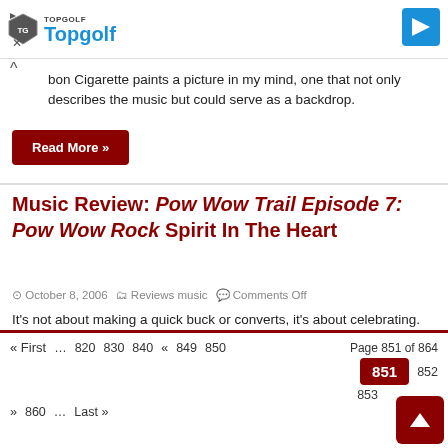[Figure (other): Topgolf advertisement banner with shield logo, 'Topgolf' text in blue, and blue arrow icon on right]
bon Cigarette paints a picture in my mind, one that not only describes the music but could serve as a backdrop.
Read More »
Music Review: Pow Wow Trail Episode 7: Pow Wow Rock Spirit In The Heart
October 8, 2006   Reviews music   Comments Off
It's not about making a quick buck or converts, it's about celebrating.
Read More »
« First … 820 830 840 « 849 850 Page 851 of 864 851 852 853 » 860 … Last »